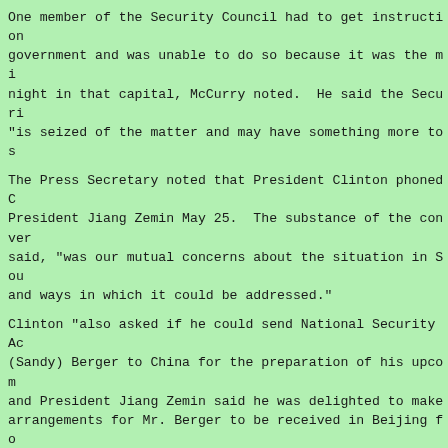One member of the Security Council had to get instruction government and was unable to do so because it was the mi night in that capital, McCurry noted. He said the Securi "is seized of the matter and may have something more to s
The Press Secretary noted that President Clinton phoned C President Jiang Zemin May 25. The substance of the conver said, "was our mutual concerns about the situation in Sou and ways in which it could be addressed."
Clinton "also asked if he could send National Security Ac (Sandy) Berger to China for the preparation of his upcom and President Jiang Zemin said he was delighted to make arrangements for Mr. Berger to be received in Beijing fo purposes for the upcoming state visit." Berger leaves Ma China.
The call was the first use of the communications link th governments announced when Jiang Zemin was at the White H October, McCurry said. "It allows voice and data communi said.
DWS*DWS*DWS*DWS*DWS*DWS*DWS*DWS*DWS*DWS*DWS*DWS*DWS*DWS*D
980529
------------------------------------------------------------------------
Dr Abdul Qadeer: a legendary scientist
------------------------------------------------------------------------
Bureau Report